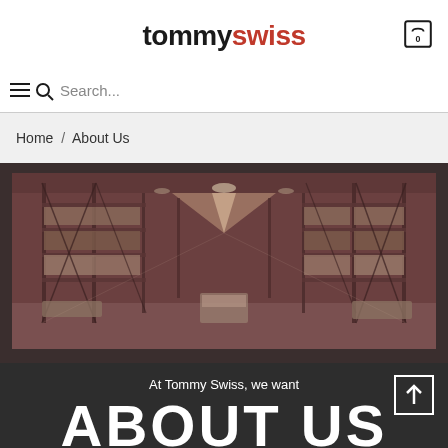tommy swiss
Search...
Home / About Us
[Figure (photo): Interior of a large warehouse with tall metal shelving racks filled with boxes and pallets, viewed from a central aisle. The image has a sepia/reddish-brown tint.]
At Tommy Swiss, we want
ABOUT US
to make great quality furniture accessible to